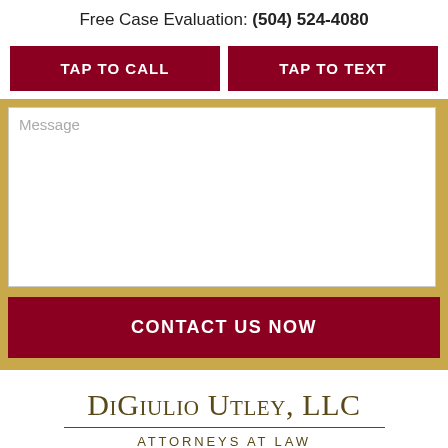Free Case Evaluation: (504) 524-4080
TAP TO CALL
TAP TO TEXT
Message
CONTACT US NOW
DiGiulio Utley, LLC
ATTORNEYS AT LAW